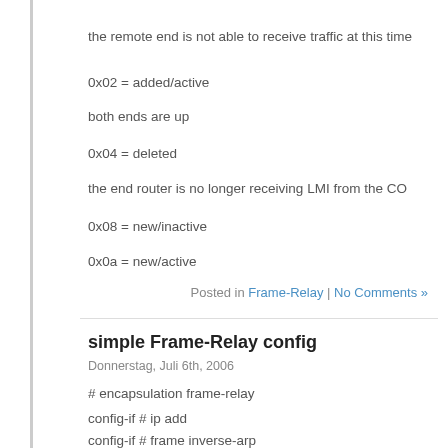the remote end is not able to receive traffic at this time
0x02 = added/active
both ends are up
0x04 = deleted
the end router is no longer receiving LMI from the CO
0x08 = new/inactive
0x0a = new/active
Posted in Frame-Relay | No Comments »
simple Frame-Relay config
Donnerstag, Juli 6th, 2006
# encapsulation frame-relay
config-if # ip add
config-if # frame inverse-arp
OR
frame map in DLCI